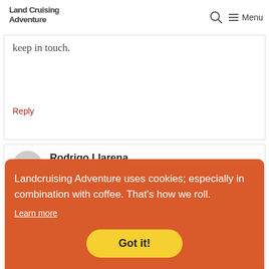LandCruising Adventure — Menu
Central America but, of course, when we'd love to meet you. We'll definitely keep in touch.
Reply
Rodrigo Llarena
March 29, 2016 at 15:04
following you guys because I find
Landcruising Adventure uses cookies; especially in combination with coffee. That's how we roll. Learn more Got it!